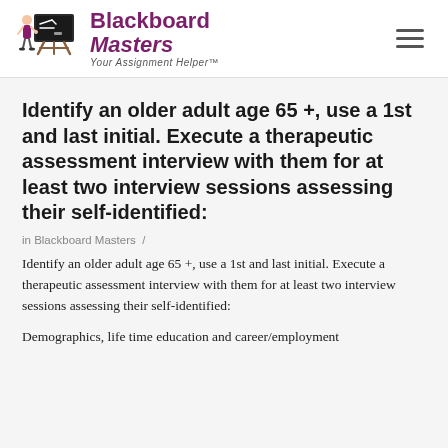Blackboard Masters — Your Assignment Helper
Identify an older adult age 65 +, use a 1st and last initial. Execute a therapeutic assessment interview with them for at least two interview sessions assessing their self-identified:
in Blackboard Masters /
Identify an older adult age 65 +, use a 1st and last initial. Execute a therapeutic assessment interview with them for at least two interview sessions assessing their self-identified:
Demographics, life time education and career/employment